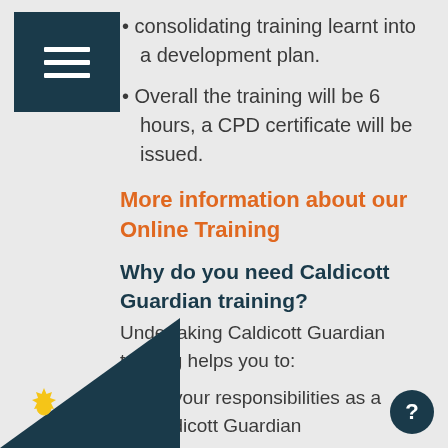[Figure (logo): Dark navy square with three white horizontal lines (hamburger menu icon)]
consolidating training learnt into a development plan.
Overall the training will be 6 hours, a CPD certificate will be issued.
More information about our Online Training
Why do you need Caldicott Guardian training?
Undertaking Caldicott Guardian training helps you to:
fulfil your responsibilities as a Caldicott Guardian
understand your role and